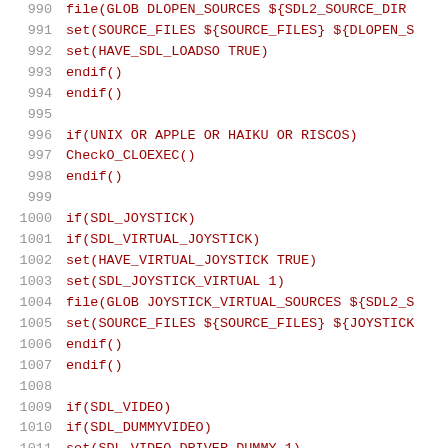Code listing lines 990-1011: CMake build script for SDL2
990    file(GLOB DLOPEN_SOURCES ${SDL2_SOURCE_DIR...
991      set(SOURCE_FILES ${SOURCE_FILES} ${DLOPEN_S...
992      set(HAVE_SDL_LOADSO TRUE)
993    endif()
994  endif()
995
996  if(UNIX OR APPLE OR HAIKU OR RISCOS)
997    CheckO_CLOEXEC()
998  endif()
999
1000  if(SDL_JOYSTICK)
1001    if(SDL_VIRTUAL_JOYSTICK)
1002      set(HAVE_VIRTUAL_JOYSTICK TRUE)
1003      set(SDL_JOYSTICK_VIRTUAL 1)
1004      file(GLOB JOYSTICK_VIRTUAL_SOURCES ${SDL2_S...
1005      set(SOURCE_FILES ${SOURCE_FILES} ${JOYSTICK...
1006    endif()
1007  endif()
1008
1009  if(SDL_VIDEO)
1010    if(SDL_DUMMYVIDEO)
1011      set(SDL_VIDEO_DRIVER_DUMMY 1)